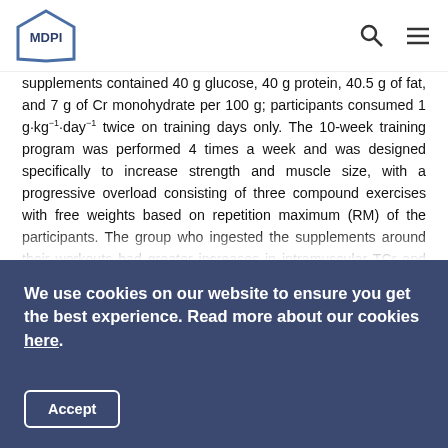MDPI
supplements contained 40 g glucose, 40 g protein, 40.5 g of fat, and 7 g of Cr monohydrate per 100 g; participants consumed 1 g·kg⁻¹·day⁻¹ twice on training days only. The 10-week training program was performed 4 times a week and was designed specifically to increase strength and muscle size, with a progressive overload consisting of three compound exercises with free weights based on repetition maximum (RM) of the participants. The group who ingested the supplements around their workouts had greater increases in intramuscular TCr and greater gains in maximum dynamic strength, lean mass, and cross-sectional area type II fibres compared to the group who consumed Cr at alternate times of the day. These findings suggest that supplement timing can play an important role in
We use cookies on our website to ensure you get the best experience. Read more about our cookies here.
Accept